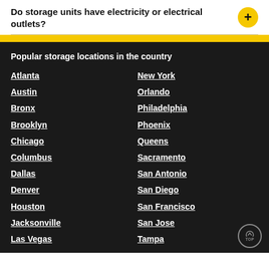Do storage units have electricity or electrical outlets?
Popular storage locations in the country
Atlanta
New York
Austin
Orlando
Bronx
Philadelphia
Brooklyn
Phoenix
Chicago
Queens
Columbus
Sacramento
Dallas
San Antonio
Denver
San Diego
Houston
San Francisco
Jacksonville
San Jose
Las Vegas
Tampa